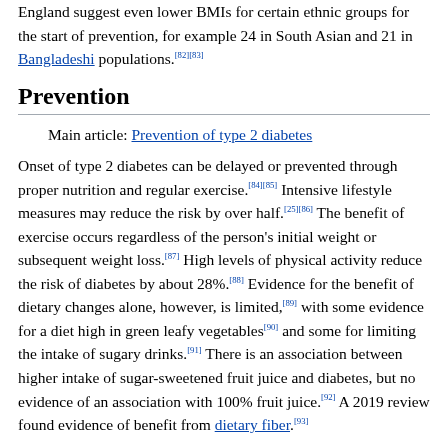England suggest even lower BMIs for certain ethnic groups for the start of prevention, for example 24 in South Asian and 21 in Bangladeshi populations.[82][83]
Prevention
Main article: Prevention of type 2 diabetes
Onset of type 2 diabetes can be delayed or prevented through proper nutrition and regular exercise.[84][85] Intensive lifestyle measures may reduce the risk by over half.[25][86] The benefit of exercise occurs regardless of the person's initial weight or subsequent weight loss.[87] High levels of physical activity reduce the risk of diabetes by about 28%.[88] Evidence for the benefit of dietary changes alone, however, is limited,[89] with some evidence for a diet high in green leafy vegetables[90] and some for limiting the intake of sugary drinks.[91] There is an association between higher intake of sugar-sweetened fruit juice and diabetes, but no evidence of an association with 100% fruit juice.[92] A 2019 review found evidence of benefit from dietary fiber.[93]
In those with impaired glucose tolerance, diet and exercise either